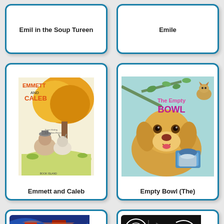Emil in the Soup Tureen
Emile
[Figure (illustration): Book cover of Emmett and Caleb showing a sloth and a goat sitting under a tree in an autumn setting]
Emmett and Caleb
[Figure (illustration): Book cover of The Empty Bowl showing a golden puppy looking sad next to empty food bowls]
Empty Bowl (The)
[Figure (illustration): Colorful abstract artwork with swirling blues and warm reds and oranges]
[Figure (illustration): Black and white abstract illustration with geometric patterns]